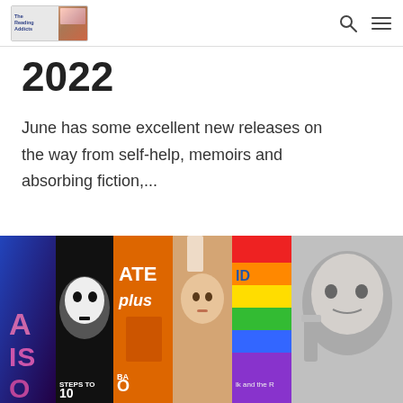The Reading Addicts
2022
June has some excellent new releases on the way from self-help, memoirs and absorbing fiction,...
[Figure (photo): Collage of book covers including fiction, self-help, and memoir titles for June 2022]